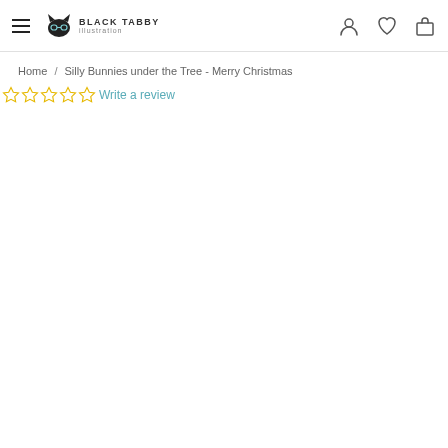Black Tabby - navigation header with hamburger menu, logo, user icon, wishlist icon, cart icon
Home / Silly Bunnies under the Tree - Merry Christmas
☆☆☆☆☆ Write a review